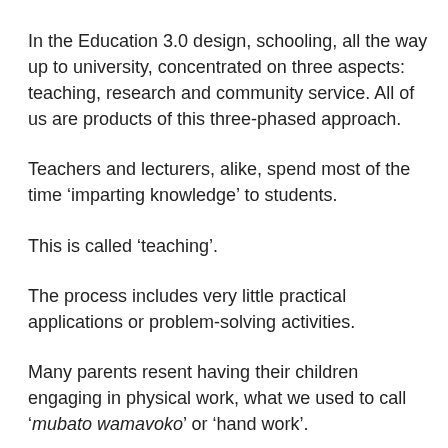In the Education 3.0 design, schooling, all the way up to university, concentrated on three aspects: teaching, research and community service. All of us are products of this three-phased approach.
Teachers and lecturers, alike, spend most of the time ‘imparting knowledge’ to students.
This is called ‘teaching’.
The process includes very little practical applications or problem-solving activities.
Many parents resent having their children engaging in physical work, what we used to call ‘mubato wamavoko’ or ‘hand work’.